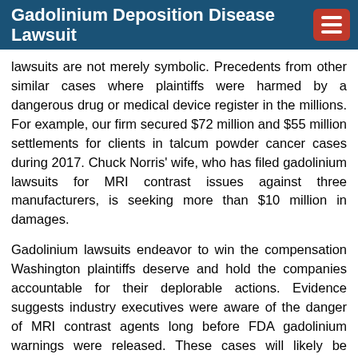Gadolinium Deposition Disease Lawsuit
lawsuits are not merely symbolic. Precedents from other similar cases where plaintiffs were harmed by a dangerous drug or medical device register in the millions. For example, our firm secured $72 million and $55 million settlements for clients in talcum powder cancer cases during 2017. Chuck Norris' wife, who has filed gadolinium lawsuits for MRI contrast issues against three manufacturers, is seeking more than $10 million in damages.
Gadolinium lawsuits endeavor to win the compensation Washington plaintiffs deserve and hold the companies accountable for their deplorable actions. Evidence suggests industry executives were aware of the danger of MRI contrast agents long before FDA gadolinium warnings were released. These cases will likely be consolidated as multidistrict litigation (MDL), a legal procedure that allows similar cases to be resolved at once, while still preserving the unique details of each case. Settlements are determined based on the